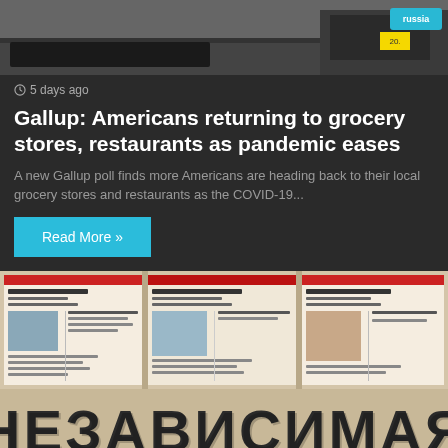[Figure (photo): Top portion of a grocery store checkout area with a Russia product label visible in the top right corner]
5 days ago
Gallup: Americans returning to grocery stores, restaurants as pandemic eases
A new Gallup poll finds more Americans are heading back to their local grocery stores and restaurants as the COVID-19...
Read More »
[Figure (photo): Blurred newspaper front pages with large Cyrillic text reading NEZAVISIMAYA at the bottom]